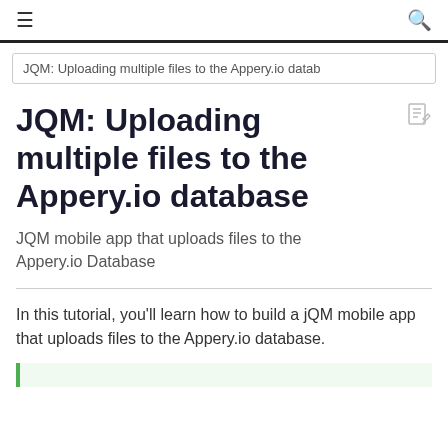≡  🔍
JQM: Uploading multiple files to the Appery.io datab
JQM: Uploading multiple files to the Appery.io database
JQM mobile app that uploads files to the Appery.io Database
In this tutorial, you'll learn how to build a jQM mobile app that uploads files to the Appery.io database.